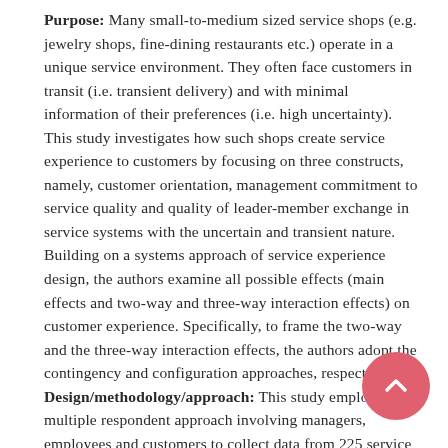Purpose: Many small-to-medium sized service shops (e.g. jewelry shops, fine-dining restaurants etc.) operate in a unique service environment. They often face customers in transit (i.e. transient delivery) and with minimal information of their preferences (i.e. high uncertainty). This study investigates how such shops create service experience to customers by focusing on three constructs, namely, customer orientation, management commitment to service quality and quality of leader-member exchange in service systems with the uncertain and transient nature. Building on a systems approach of service experience design, the authors examine all possible effects (main effects and two-way and three-way interaction effects) on customer experience. Specifically, to frame the two-way and the three-way interaction effects, the authors adopt the contingency and configuration approaches, respectively. Design/methodology/approach: This study employs a multiple respondent approach involving managers, employees and customers to collect data from 225 service shops in Hong Kong. Hierarchically moderated regression analysis is employed to analyze the collected data. Findings: Contrary to our initial conceptualization, most of the direct effects and two-way interaction effects among the three constructs are insignificant. The authors also report some significant effects of the